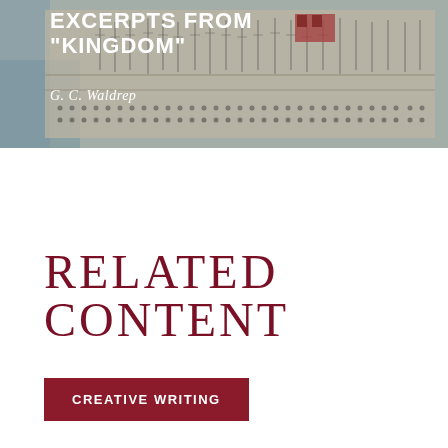[Figure (illustration): A historical map or architectural/engineering drawing of a harbor or dock plan, shown as a banner image at the top of the page. The background is a muted blue-gray tone with detailed line drawings of ships, masts, and structures along a waterfront.]
EXCERPTS FROM "KINGDOM"
G. C. Waldrep
RELATED CONTENT
CREATIVE WRITING